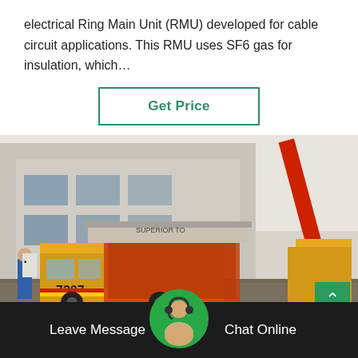electrical Ring Main Unit (RMU) developed for cable circuit applications. This RMU uses SF6 gas for insulation, which…
Get Price
[Figure (photo): A yellow truck (numbered 7207) with equipment mounted on it, parked at a construction site near a building. A large red crane is visible in the background on the right. A worker in blue is visible on the left side.]
Leave Message
Chat Online